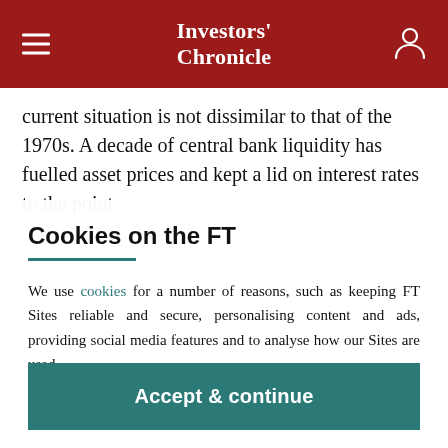Investors' Chronicle
current situation is not dissimilar to that of the 1970s. A decade of central bank liquidity has fuelled asset prices and kept a lid on interest rates to the point
Cookies on the FT
We use cookies for a number of reasons, such as keeping FT Sites reliable and secure, personalising content and ads, providing social media features and to analyse how our Sites are used.
Manage cookies
Accept & continue